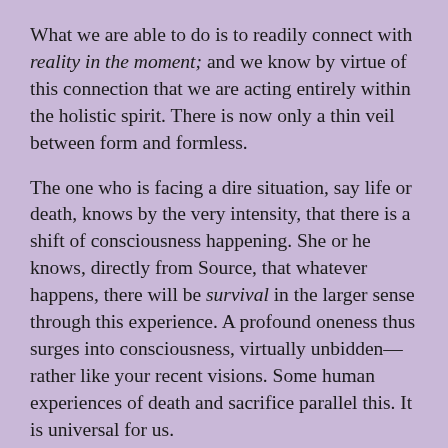What we are able to do is to readily connect with reality in the moment; and we know by virtue of this connection that we are acting entirely within the holistic spirit. There is now only a thin veil between form and formless.
The one who is facing a dire situation, say life or death, knows by the very intensity, that there is a shift of consciousness happening. She or he knows, directly from Source, that whatever happens, there will be survival in the larger sense through this experience. A profound oneness thus surges into consciousness, virtually unbidden—rather like your recent visions. Some human experiences of death and sacrifice parallel this. It is universal for us.
One no longer puts the desire for single self-survival first. If individual survival is not matched with whole-survival, it becomes irrelevant. Instinct rises up. It is